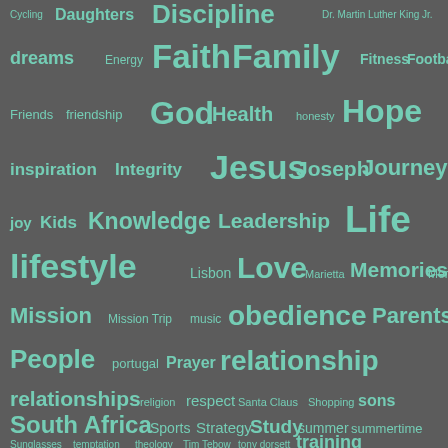[Figure (infographic): Word cloud on dark gray background with teal/mint colored words of varying sizes representing topics such as Faith, Family, God, Hope, Jesus, Life, lifestyle, Love, obedience, relationship, relationships, South Africa, training, and many others.]